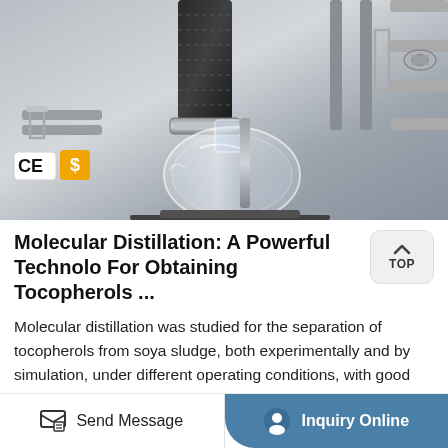[Figure (photo): Close-up photograph of molecular distillation laboratory glassware and metal equipment components, including glass flask, metal fittings, springs, and connectors. CE and dollar sign badges visible in lower left corner.]
Molecular Distillation: A Powerful Technology For Obtaining Tocopherols ...
Molecular distillation was studied for the separation of tocopherols from soya sludge, both experimentally and by simulation, under different operating conditions, with good agreement. Evaporator temperatures varied from 100 degrees C to 160 degrees C and feed flow rates ranged